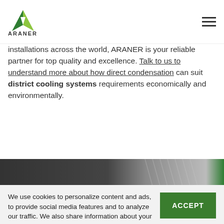ARANER
installations across the world, ARANER is your reliable partner for top quality and excellence. Talk to us to understand more about how direct condensation can suit district cooling systems requirements economically and environmentally.
[Figure (photo): Dark banner image with text 'We create tailor-made' on a dark background with abstract industrial imagery and green accent.]
We use cookies to personalize content and ads, to provide social media features and to analyze our traffic. We also share information about your use of our site with our social media, advertising and analytics. If you continue browsing we understand that you accept our cookies policy